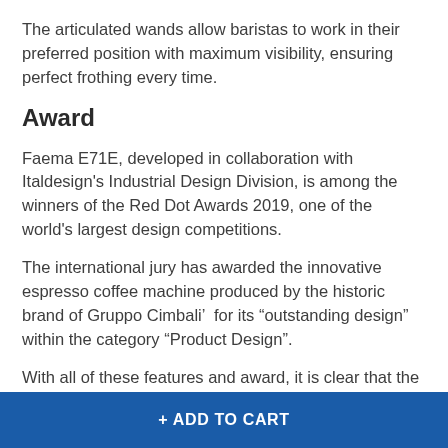The articulated wands allow baristas to work in their preferred position with maximum visibility, ensuring perfect frothing every time.
Award
Faema E71E, developed in collaboration with Italdesign's Industrial Design Division, is among the winners of the Red Dot Awards 2019, one of the world's largest design competitions.
The international jury has awarded the innovative espresso coffee machine produced by the historic brand of Gruppo Cimbali’  for its “outstanding design” within the category “Product Design”.
With all of these features and award, it is clear that the E71E is one machine that blends great design, tradition, and innovation for the master coffee artists who seek to produce the perfect coffee in
+ ADD TO CART